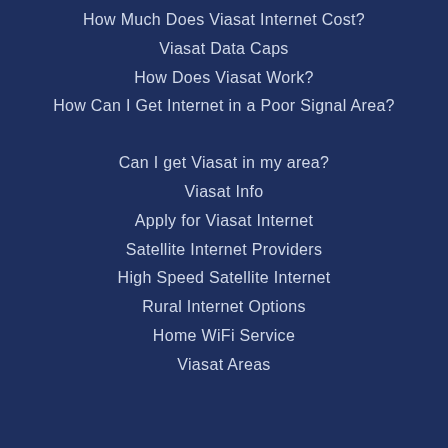How Much Does Viasat Internet Cost?
Viasat Data Caps
How Does Viasat Work?
How Can I Get Internet in a Poor Signal Area?
Can I get Viasat in my area?
Viasat Info
Apply for Viasat Internet
Satellite Internet Providers
High Speed Satellite Internet
Rural Internet Options
Home WiFi Service
Viasat Areas